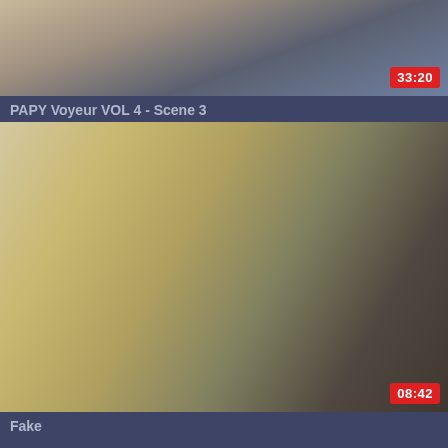[Figure (screenshot): Video thumbnail showing people seated, duration badge 33:20 in red bottom-right]
PAPY Voyeur VOL 4 - Scene 3
[Figure (screenshot): Video thumbnail showing close-up scene, duration badge 08:42 in red bottom-right]
Fake